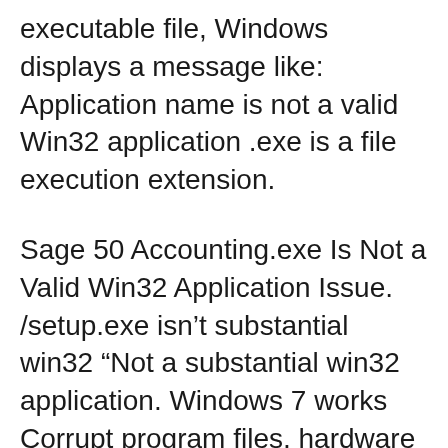executable file, Windows displays a message like: Application name is not a valid Win32 application .exe is a file execution extension.
Sage 50 Accounting.exe Is Not a Valid Win32 Application Issue. /setup.exe isn’t substantial win32 “Not a substantial win32 application. Windows 7 works Corrupt program files, hardware and software incompatibility and viruses are likely causes for the "Not a valid win32 application" error. The win32 error message will usually appear as "C:\Program Files\myprogram\program.exe is not a valid Win32 application." You can fix win32 application issues by using tools